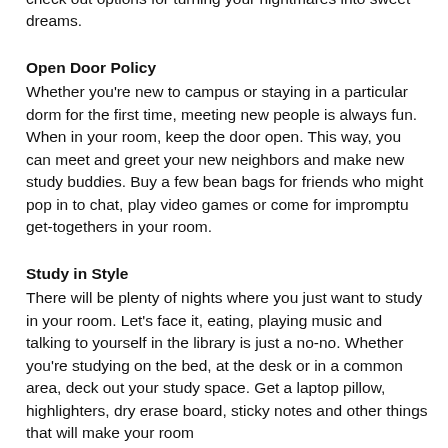check out options for turning your nightmares into sweet dreams.
Open Door Policy
Whether you're new to campus or staying in a particular dorm for the first time, meeting new people is always fun. When in your room, keep the door open. This way, you can meet and greet your new neighbors and make new study buddies. Buy a few bean bags for friends who might pop in to chat, play video games or come for impromptu get-togethers in your room.
Study in Style
There will be plenty of nights where you just want to study in your room. Let's face it, eating, playing music and talking to yourself in the library is just a no-no. Whether you're studying on the bed, at the desk or in a common area, deck out your study space. Get a laptop pillow, highlighters, dry erase board, sticky notes and other things that will make your room